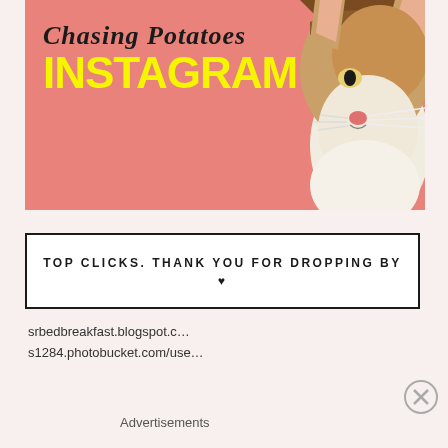[Figure (illustration): Pink background banner with a cat photo on the right side and text 'Chasing Potatoes INSTAGRAM' on the left. The cat is a tabby looking upward on a coral/salmon pink background.]
TOP CLICKS. THANK YOU FOR DROPPING BY ♥
srbedbreakfast.blogspot.c…
s1284.photobucket.com/use…
Advertisements